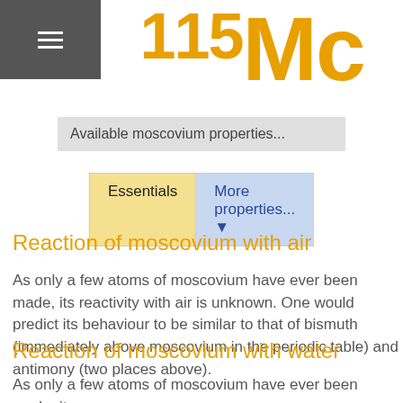[Figure (other): Hamburger menu icon (three horizontal white lines on dark grey background)]
115Mc
Available moscovium properties...
Essentials | More properties... ▼
Reaction of moscovium with air
As only a few atoms of moscovium have ever been made, its reactivity with air is unknown. One would predict its behaviour to be similar to that of bismuth (immediately above moscovium in the periodic table) and antimony (two places above).
Reaction of moscovium with water
As only a few atoms of moscovium have ever been made, its